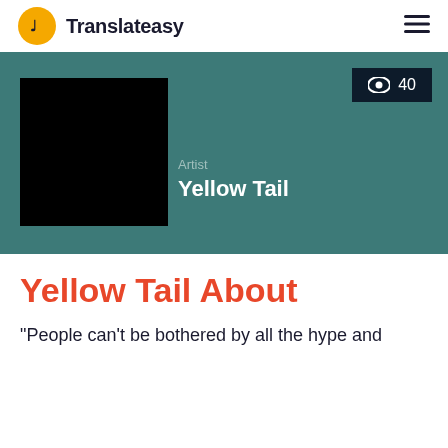Translateasy
[Figure (screenshot): Artist banner for Yellow Tail showing a black album art square on a teal background, with an eye icon badge showing 40 views in dark navy, and artist label with name Yellow Tail]
Yellow Tail About
“People can’t be bothered by all the hype and